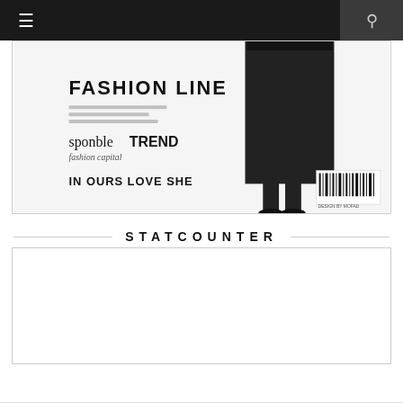[Figure (screenshot): Top navigation bar with hamburger menu icon on left and search icon on right, dark background]
[Figure (photo): Fashion magazine style image showing a woman's legs in a black skirt and heels, with text overlays: FASHION LINE, sponble TREND, fashion capital, IN OURS LOVE SHE, and a barcode graphic]
STATCOUNTER
[Figure (screenshot): Empty statcounter widget box with light border]